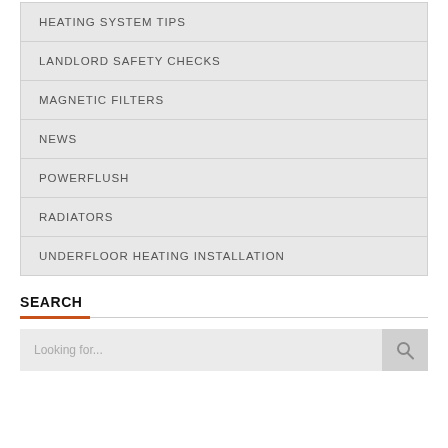HEATING SYSTEM TIPS
LANDLORD SAFETY CHECKS
MAGNETIC FILTERS
NEWS
POWERFLUSH
RADIATORS
UNDERFLOOR HEATING INSTALLATION
SEARCH
Looking for...